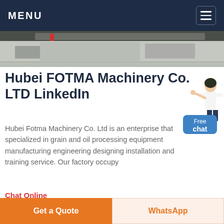MENU
[Figure (photo): Top industrial/quarry photo showing stone or concrete surfaces with machinery]
Hubei FOTMA Machinery Co. LTD LinkedIn
[Figure (illustration): Female customer service assistant figure with Free chat button]
Hubei Fotma Machinery Co. Ltd is an enterprise that specialized in grain and oil processing equipment manufacturing engineering designing installation and training service. Our factory occupy
Chat Online
[Figure (photo): Industrial machinery photo showing large white and brown industrial machine/crusher under clear blue sky]
Get a Quote
WhatsApp